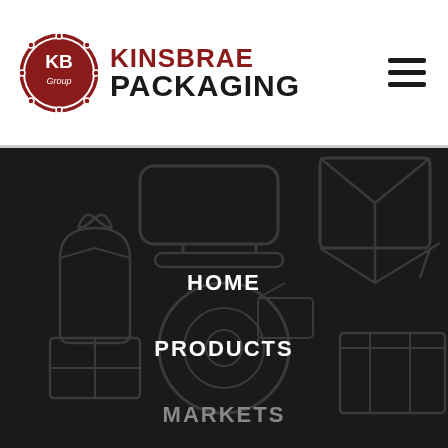[Figure (logo): Kinsbrae Packaging logo with red KB badge and black text reading KINSBRAE PACKAGING]
[Figure (illustration): Dark background with faint packaging icons including boxes, labels, rolls, and a gift bag]
HOME
PRODUCTS
MARKETS